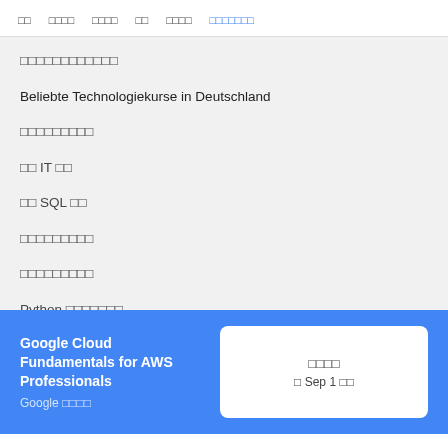□□  □□□□  □□□□  □□  □□□□  □□□□□□□
□□□□□□□□□□□□
Beliebte Technologiekurse in Deutschland
□□□□□□□□□
□□ IT □□
□□ SQL □□
□□□□□□□□□
□□□□□□□□□
Python □□□□□□□
Web □□□□□□□□
□□□□□□□□
□□□□□□□□□□□□□
Google Cloud Fundamentals for AWS Professionals
Google □□□□
□□□□
□ Sep 1 □□